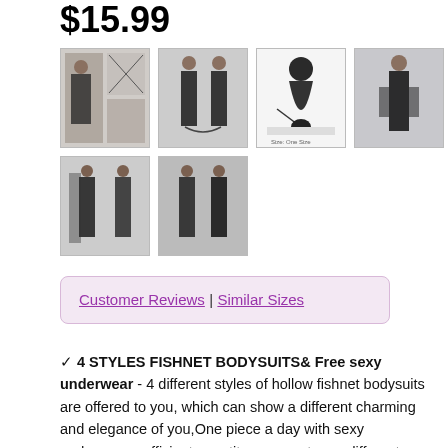$15.99
[Figure (photo): Row of product thumbnail images showing fishnet bodysuits and accessories - row 1 with 4 images, row 2 with 2 images]
Customer Reviews | Similar Sizes
✔ 4 STYLES FISHNET BODYSUITS& Free sexy underwear - 4 different styles of hollow fishnet bodysuits are offered to you, which can show a different charming and elegance of you,One piece a day with sexy underwear, sufficient quantity can meet your different matching needs and replacement in